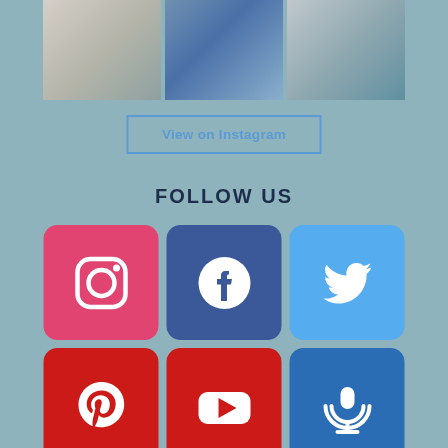[Figure (photo): Three Instagram photos of people in casual/outdoor settings shown in a row at the top]
View on Instagram
FOLLOW US
[Figure (infographic): Grid of 6 social media icons: Instagram, Facebook, Twitter, Pinterest, YouTube, Podcast]